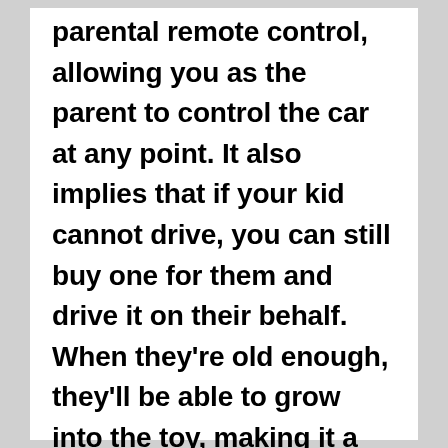parental remote control, allowing you as the parent to control the car at any point. It also implies that if your kid cannot drive, you can still buy one for them and drive it on their behalf. When they're old enough, they'll be able to grow into the toy, making it a toy that will endure a lot longer.